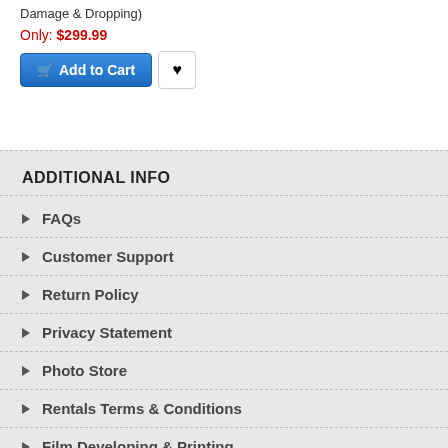Damage & Dropping)
Only: $299.99
[Figure (screenshot): Add to Cart button (blue) and heart/wishlist button (white with black heart icon)]
ADDITIONAL INFO
FAQs
Customer Support
Return Policy
Privacy Statement
Photo Store
Rentals Terms & Conditions
Film Developing & Printing